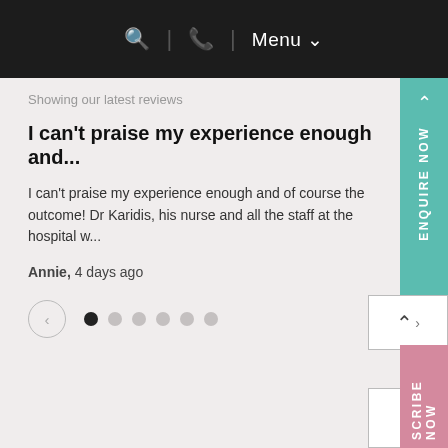🔍 | 📞 | Menu ∨
Showing our latest reviews
I can't praise my experience enough and...
I can't praise my experience enough and of course the outcome! Dr Karidis, his nurse and all the staff at the hospital w...
Annie, 4 days ago
[Figure (other): Carousel navigation: left arrow button and 6 pagination dots, first dot active]
0207 432 8727